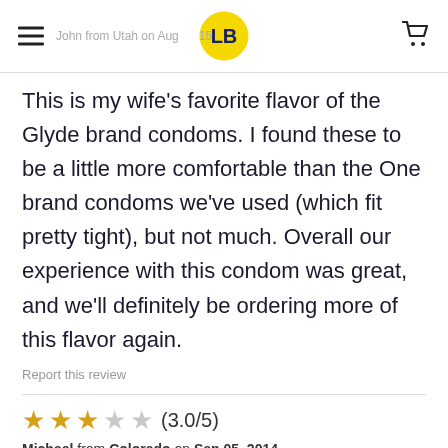John from Utah on Aug 2015 — LB logo — cart icon
This is my wife's favorite flavor of the Glyde brand condoms. I found these to be a little more comfortable than the One brand condoms we've used (which fit pretty tight), but not much. Overall our experience with this condom was great, and we'll definitely be ordering more of this flavor again.
Report this review
★★★☆☆ (3.0/5)
Michael from Colorado on Sep 05, 2014
I was disappointed with this condom. The sizing felt small and the latex